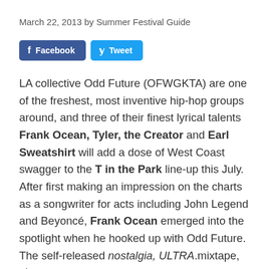March 22, 2013 by Summer Festival Guide
[Figure (other): Social share buttons: Facebook and Tweet]
LA collective Odd Future (OFWGKTA) are one of the freshest, most inventive hip-hop groups around, and three of their finest lyrical talents Frank Ocean, Tyler, the Creator and Earl Sweatshirt will add a dose of West Coast swagger to the T in the Park line-up this July. After first making an impression on the charts as a songwriter for acts including John Legend and Beyoncé, Frank Ocean emerged into the spotlight when he hooked up with Odd Future. The self-released nostalgia, ULTRA.mixtape, plus gems